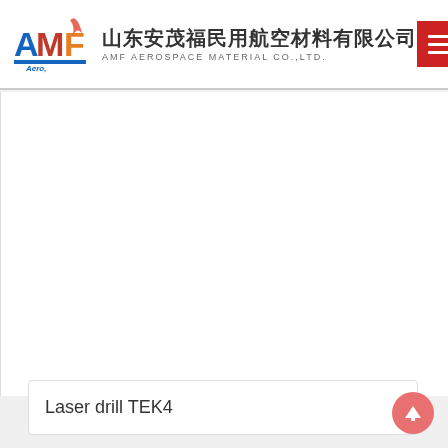山东安茂福民用航空材料有限公司 AMF AEROSPACE MATERIAL CO.,LTD.
[Figure (logo): AMF Aero logo with blue A, red M, yellow/red F flame and blue underline with 'Aero' text]
Laser drill TEK4